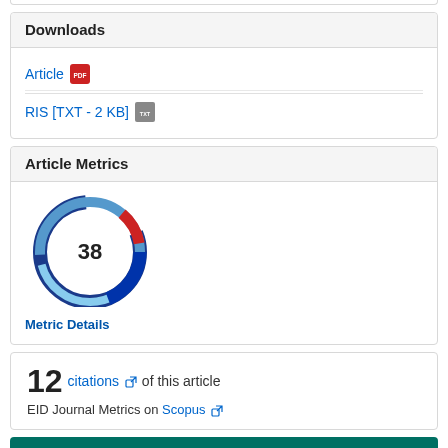Downloads
Article [PDF]
RIS [TXT - 2 KB]
Article Metrics
[Figure (donut-chart): Donut chart showing metric score of 38, with blue and red arc segments around a white center circle displaying '38']
Metric Details
12 citations of this article
EID Journal Metrics on Scopus
Related Articles